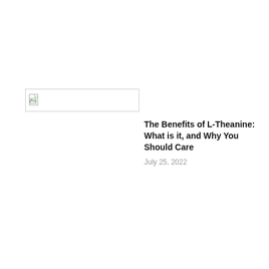[Figure (illustration): Broken/missing image placeholder with a small broken image icon in the top-left corner, rectangular border]
The Benefits of L-Theanine: What is it, and Why You Should Care
July 25, 2022